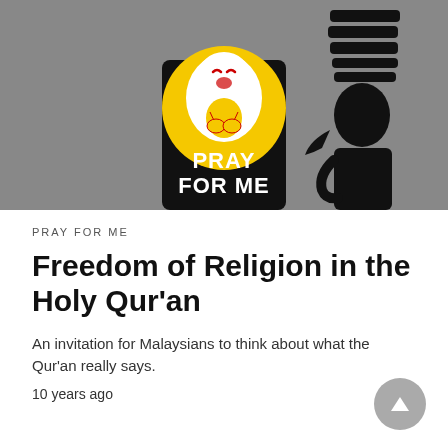[Figure (illustration): Illustration of a cartoon figure praying, set inside a yellow circle on a black background. Text 'PRAY FOR ME' in white bold letters on the black portion. A partial figure in black silhouette is visible to the right. Background is gray.]
PRAY FOR ME
Freedom of Religion in the Holy Qur'an
An invitation for Malaysians to think about what the Qur'an really says.
10 years ago